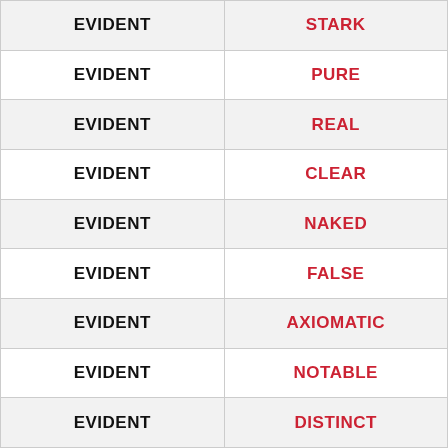| Word | Synonym |
| --- | --- |
| EVIDENT | STARK |
| EVIDENT | PURE |
| EVIDENT | REAL |
| EVIDENT | CLEAR |
| EVIDENT | NAKED |
| EVIDENT | FALSE |
| EVIDENT | AXIOMATIC |
| EVIDENT | NOTABLE |
| EVIDENT | DISTINCT |